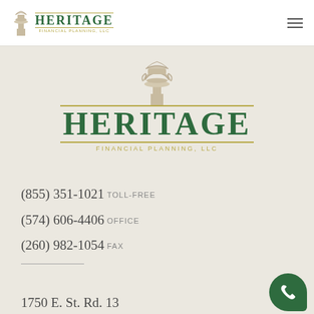[Figure (logo): Heritage Financial Planning LLC logo in top navigation bar — column icon with HERITAGE text in green and gold dividers, FINANCIAL PLANNING, LLC subtitle]
[Figure (logo): Heritage Financial Planning LLC large logo — decorative column capital illustration above HERITAGE in large green bold serif text with gold border lines and FINANCIAL PLANNING, LLC below]
(855) 351-1021 TOLL-FREE
(574) 606-4406 OFFICE
(260) 982-1054 FAX
1750 E. St. Rd. 13
North Manchester, IN 46962